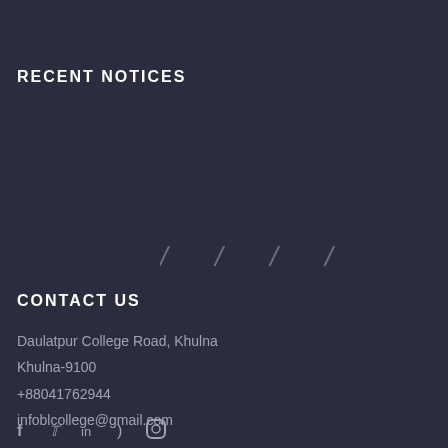RECENT NOTICES
[Figure (other): Four forward-slash characters spaced apart, representing social/navigation icon placeholders in muted color]
CONTACT US
Daulatpur College Road, Khulna
Khulna-9100
+88041762944
infoblcollege@gmail.com
[Figure (other): Row of social media icons: Facebook, Twitter, LinkedIn, RSS, Instagram in muted color]